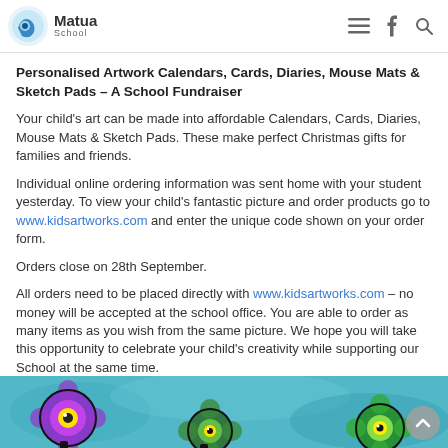Matua School
Personalised Artwork Calendars, Cards, Diaries, Mouse Mats & Sketch Pads – A School Fundraiser
Your child's art can be made into affordable Calendars, Cards, Diaries, Mouse Mats & Sketch Pads. These make perfect Christmas gifts for families and friends.
Individual online ordering information was sent home with your student yesterday. To view your child's fantastic picture and order products go to www.kidsartworks.com and enter the unique code shown on your order form.
Orders close on 28th September.
All orders need to be placed directly with www.kidsartworks.com – no money will be accepted at the school office. You are able to order as many items as you wish from the same picture. We hope you will take this opportunity to celebrate your child's creativity while supporting our School at the same time.
[Figure (photo): Children's colorful artwork showing stylized flowers/eyes on a turquoise/blue background]